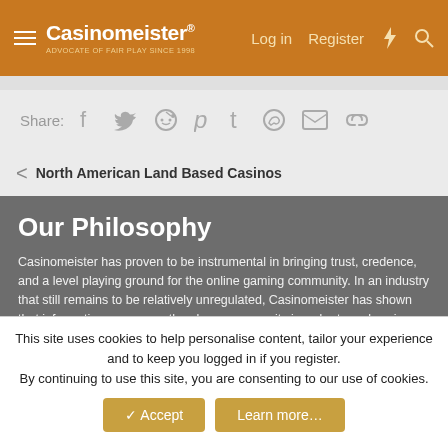Casinomeister – Log in | Register
Share:
< North American Land Based Casinos
Our Philosophy
Casinomeister has proven to be instrumental in bringing trust, credence, and a level playing ground for the online gaming community. In an industry that still remains to be relatively unregulated, Casinomeister has shown that information empowers the player community in order to make wise decisions when it comes to online gaming.
Player arbitration
This site uses cookies to help personalise content, tailor your experience and to keep you logged in if you register.
By continuing to use this site, you are consenting to our use of cookies.